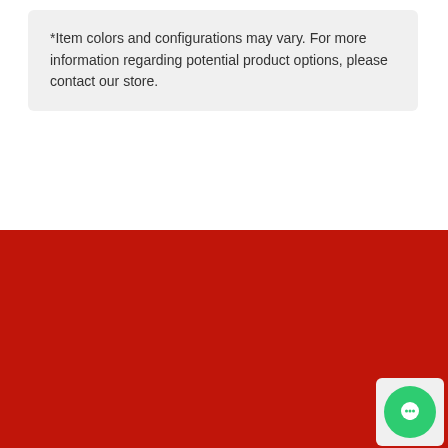*Item colors and configurations may vary. For more information regarding potential product options, please contact our store.
DELIVERY & FINANCING